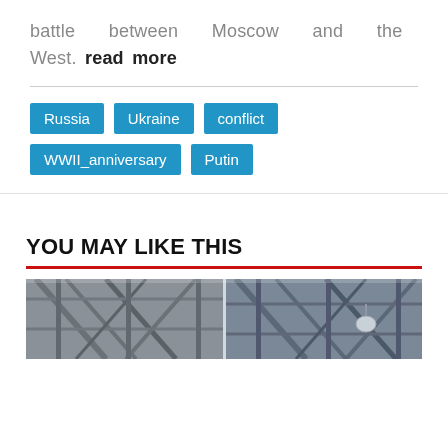battle between Moscow and the West. read more
Russia
Ukraine
conflict
WWII_anniversary
Putin
YOU MAY LIKE THIS
[Figure (photo): Interior industrial or structural photograph showing metal beams, trusses, and pipes – a panoramic strip image.]